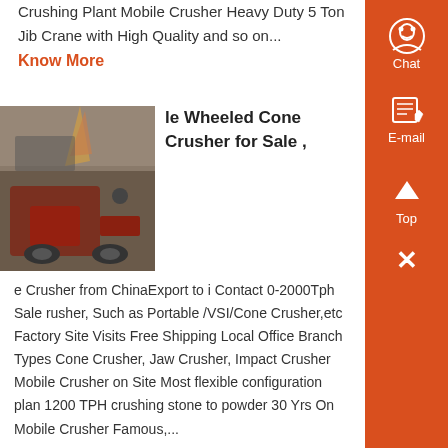Crushing Plant Mobile Crusher Heavy Duty 5 Ton Jib Crane with High Quality and so on...
Know More
[Figure (photo): Photo of a wheeled cone crusher machine on site, showing red machinery with flame/exhaust visible]
le Wheeled Cone Crusher for Sale ,
e Crusher from ChinaExport to i Contact 0-2000Tph Sale rusher, Such as Portable /VSI/Cone Crusher,etc Factory Site Visits Free Shipping Local Office Branch Types Cone Crusher, Jaw Crusher, Impact Crusher Mobile Crusher on Site Most flexible configuration plan 1200 TPH crushing stone to powder 30 Yrs On Mobile Crusher Famous,...
Know More